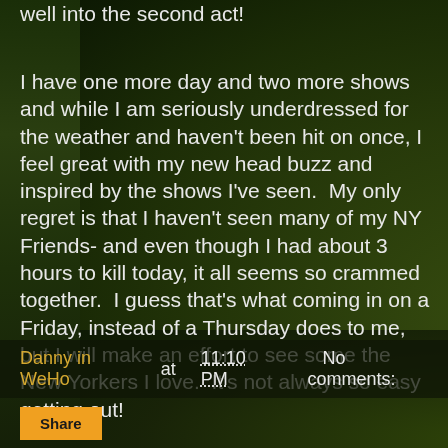well into the second act!
I have one more day and two more shows and while I am seriously underdressed for the weather and haven't been hit on once, I feel great with my new head buzz and inspired by the shows I've seen.  My only regret is that I haven't seen many of my NY Friends- and even though I had about 3 hours to kill today, it all seems so crammed together.  I guess that's what coming in on a Friday, instead of a Thursday does to me, but I will make an effort to see some the New Yorkers I love.  It's not always so easy getting out!
[Figure (photo): Dark green-tinted photos overlaid behind blog post text, showing blurred figures.]
Danny in WeHo at 11:10 PM   No comments:
Share